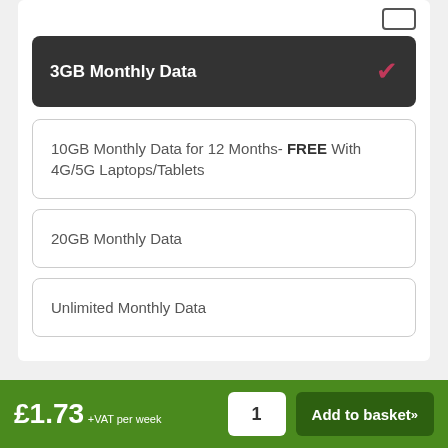3GB Monthly Data
10GB Monthly Data for 12 Months- FREE With 4G/5G Laptops/Tablets
20GB Monthly Data
Unlimited Monthly Data
£1.73 +VAT per week
1
Add to basket »